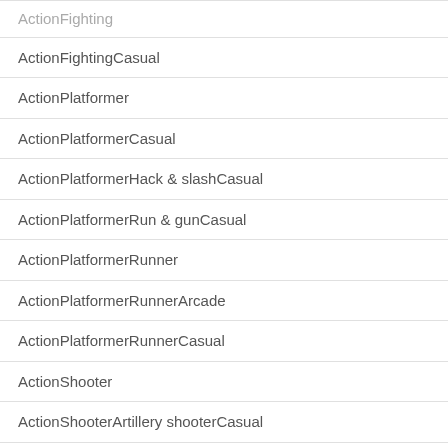ActionFighting
ActionFightingCasual
ActionPlatformer
ActionPlatformerCasual
ActionPlatformerHack & slashCasual
ActionPlatformerRun & gunCasual
ActionPlatformerRunner
ActionPlatformerRunnerArcade
ActionPlatformerRunnerCasual
ActionShooter
ActionShooterArtillery shooterCasual
ActionShooterBulletstorm
ActionShooterBulletstormArcade
ActionShooterBulletstormCasual